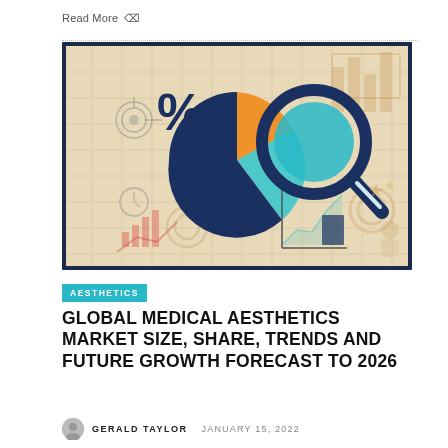Read More
[Figure (illustration): Market research illustration showing a pie chart with orange, teal, and dark navy segments, a large magnifying glass icon overlay, a percentage sign, bar charts, line charts, clock icons, gear icons, and a target icon on a beige grid background. Surrounded by a dark navy border.]
AESTHETICS
GLOBAL MEDICAL AESTHETICS MARKET SIZE, SHARE, TRENDS AND FUTURE GROWTH FORECAST TO 2026
GERALD TAYLOR  JANUARY 15, 2022